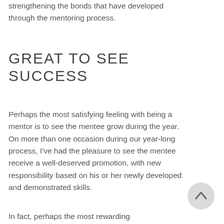strengthening the bonds that have developed through the mentoring process.
GREAT TO SEE SUCCESS
Perhaps the most satisfying feeling with being a mentor is to see the mentee grow during the year. On more than one occasion during our year-long process, I've had the pleasure to see the mentee receive a well-deserved promotion, with new responsibility based on his or her newly developed and demonstrated skills.
In fact, perhaps the most rewarding